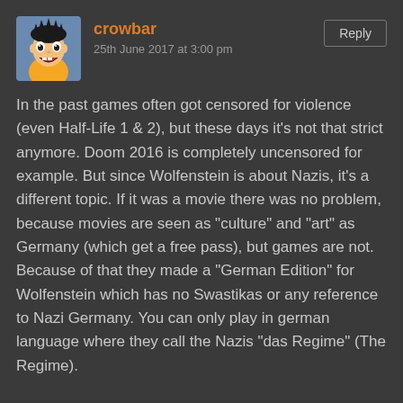[Figure (illustration): Avatar image of an anime character (Son Goku from Dragon Ball) with dark hair and open mouth expression]
crowbar
25th June 2017 at 3:00 pm
Reply
In the past games often got censored for violence (even Half-Life 1 & 2), but these days it's not that strict anymore. Doom 2016 is completely uncensored for example. But since Wolfenstein is about Nazis, it's a different topic. If it was a movie there was no problem, because movies are seen as "culture" and "art" as Germany (which get a free pass), but games are not. Because of that they made a "German Edition" for Wolfenstein which has no Swastikas or any reference to Nazi Germany. You can only play in german language where they call the Nazis "das Regime" (The Regime).